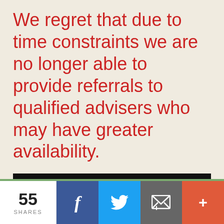We regret that due to time constraints we are no longer able to provide referrals to qualified advisers who may have greater availability.
[Figure (infographic): Black banner with white text reading: STOP GUESSING... START KNOWING]
55 SHARES [Facebook share button] [Twitter share button] [Email share button] [More share button]